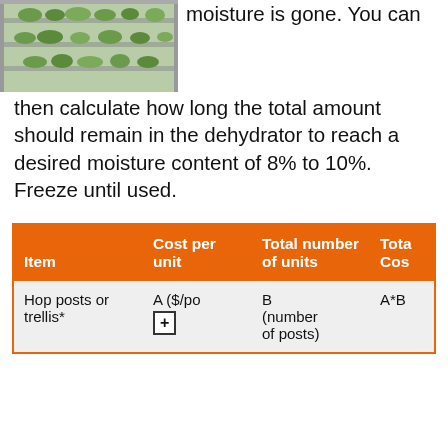[Figure (photo): Dehydrator trays with green hops/vegetables on shelves, kitchen appliance interior view]
moisture is gone. You can then calculate how long the total amount should remain in the dehydrator to reach a desired moisture content of 8% to 10%. Freeze until used.
| Item | Cost per unit | Total number of units | Total Cost |
| --- | --- | --- | --- |
| Hop posts or trellis* | A ($/po | B (number of posts) | A*B |